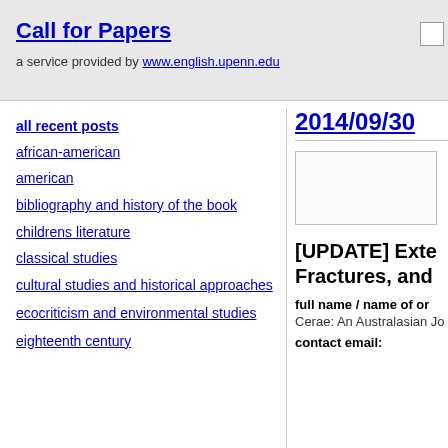Call for Papers
a service provided by www.english.upenn.edu
all recent posts
african-american
american
bibliography and history of the book
childrens literature
classical studies
cultural studies and historical approaches
ecocriticism and environmental studies
eighteenth century
2014/09/30
[Figure (other): Advertisement or content box]
[UPDATE] Exte
Fractures, and
full name / name of or
Cerae: An Australasian Jo
contact email: